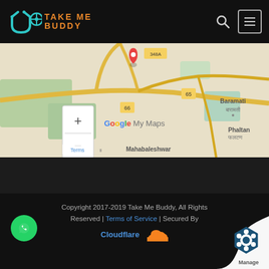[Figure (logo): Take Me Buddy logo with teal icon and orange text]
[Figure (map): Google My Maps showing Mahabaleshwar region in Maharashtra, India with roads, Baramati, Phaltan, zoom controls and location pin]
Copyright 2017-2019 Take Me Buddy, All Rights Reserved | Terms of Service | Secured By Cloudflare